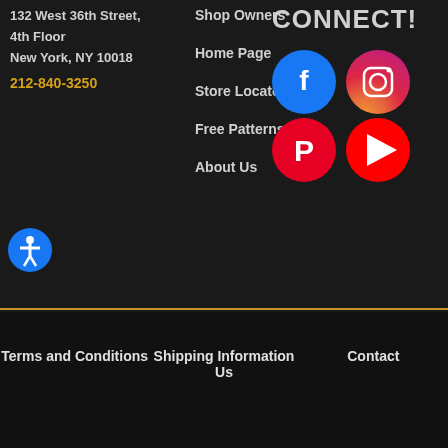132 West 36th Street,
4th Floor
New York, NY 10018
212-840-3250
Shop Owners
Home Page
Store Locator
Free Patterns
About Us
CONNECT!
[Figure (other): Social media icons: Facebook (blue circle), Instagram (pink/red gradient circle), Pinterest (red circle), YouTube (red circle)]
[Figure (other): Accessibility button (blue circle with person icon)]
Terms and Conditions   Shipping Information Us   Contact